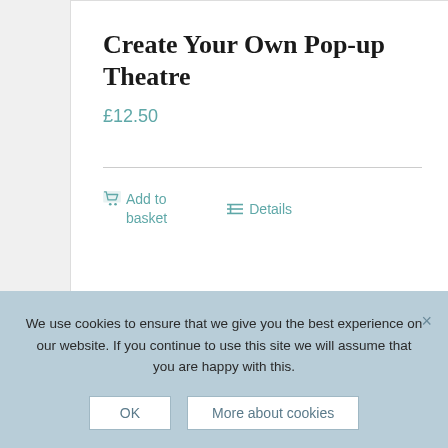Create Your Own Pop-up Theatre
£12.50
Add to basket
Details
[Figure (illustration): Green book cover with text 'A LITTLE HISTORY OF' partially visible]
We use cookies to ensure that we give you the best experience on our website. If you continue to use this site we will assume that you are happy with this.
OK
More about cookies